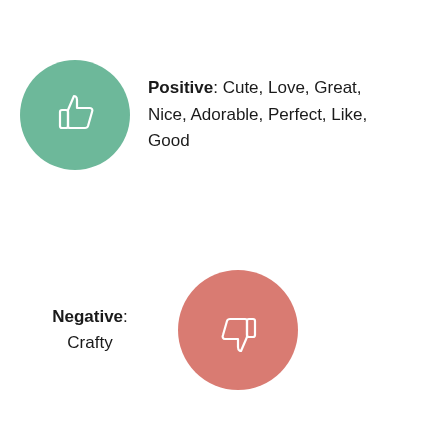[Figure (illustration): Green circle with thumbs-up icon for positive sentiment]
Positive: Cute, Love, Great, Nice, Adorable, Perfect, Like, Good
Negative: Crafty
[Figure (illustration): Red/salmon circle with thumbs-down icon for negative sentiment]